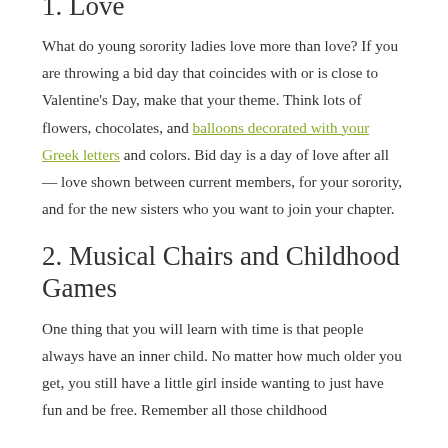1. Love
What do young sorority ladies love more than love? If you are throwing a bid day that coincides with or is close to Valentine's Day, make that your theme. Think lots of flowers, chocolates, and balloons decorated with your Greek letters and colors. Bid day is a day of love after all — love shown between current members, for your sorority, and for the new sisters who you want to join your chapter.
2. Musical Chairs and Childhood Games
One thing that you will learn with time is that people always have an inner child. No matter how much older you get, you still have a little girl inside wanting to just have fun and be free. Remember all those childhood